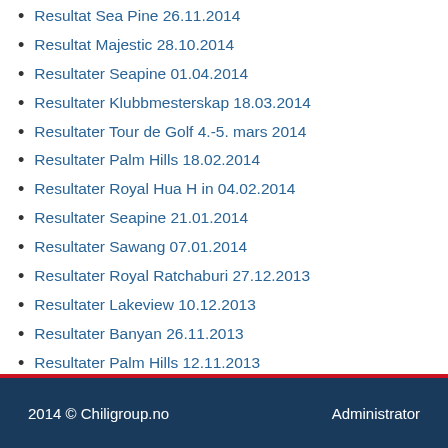Resultat Sea Pine 26.11.2014
Resultat Majestic 28.10.2014
Resultater Seapine 01.04.2014
Resultater Klubbmesterskap 18.03.2014
Resultater Tour de Golf 4.-5. mars 2014
Resultater Palm Hills 18.02.2014
Resultater Royal Hua H in 04.02.2014
Resultater Seapine 21.01.2014
Resultater Sawang 07.01.2014
Resultater Royal Ratchaburi 27.12.2013
Resultater Lakeview 10.12.2013
Resultater Banyan 26.11.2013
Resultater Palm Hills 12.11.2013
Resultater Majestic Creek 29.10. 2013
2014 © Chiligroup.no    Administrator